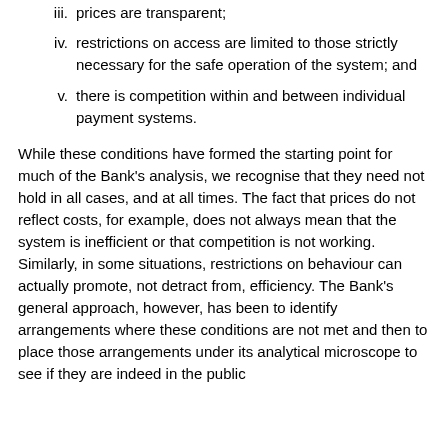iii. prices are transparent;
iv. restrictions on access are limited to those strictly necessary for the safe operation of the system; and
v. there is competition within and between individual payment systems.
While these conditions have formed the starting point for much of the Bank's analysis, we recognise that they need not hold in all cases, and at all times. The fact that prices do not reflect costs, for example, does not always mean that the system is inefficient or that competition is not working. Similarly, in some situations, restrictions on behaviour can actually promote, not detract from, efficiency. The Bank's general approach, however, has been to identify arrangements where these conditions are not met and then to place those arrangements under its analytical microscope to see if they are indeed in the public